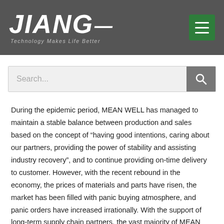JIANG — Technology Makes Life Better
During the epidemic period, MEAN WELL has managed to maintain a stable balance between production and sales based on the concept of “having good intentions, caring about our partners, providing the power of stability and assisting industry recovery”, and to continue providing on-time delivery to customer. However, with the recent rebound in the economy, the prices of materials and parts have risen, the market has been filled with panic buying atmosphere, and panic orders have increased irrationally. With the support of long-term supply chain partners, the vast majority of MEAN WELL model